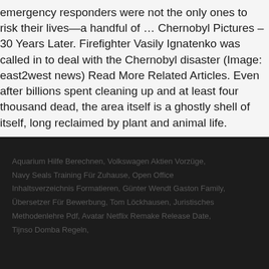emergency responders were not the only ones to risk their lives—a handful of … Chernobyl Pictures – 30 Years Later. Firefighter Vasily Ignatenko was called in to deal with the Chernobyl disaster (Image: east2west news) Read More Related Articles. Even after billions spent cleaning up and at least four thousand dead, the area itself is a ghostly shell of itself, long reclaimed by plant and animal life.
Aquarium Hilfe Berechnen, Volkswagen Aktien Vorzüge, Navy Seals Training Für Zuhause, Open Office Inhaltsverzeichnis Formatieren, Günter Wendt Gaston Family, Übersetzer Für Bewerbung, Tom Löckhausen, Juristisches Methodenlehre Pdf, Avatar Netflix Remake Release Date, Tijnso Domba Regeln,
chernobyl firefighters hospital pictures 2020